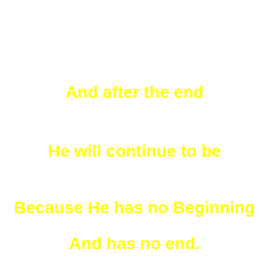And after the end
He will continue to be
Because He has no Beginning
And has no end.